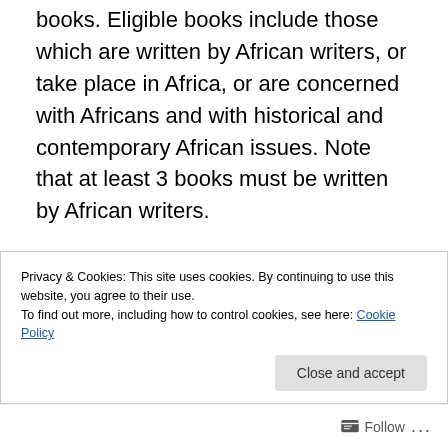books.  Eligible books include those which are written by African writers, or take place in Africa, or are concerned with Africans and with historical and contemporary African issues. Note that at least 3 books must be written by African writers.
Genres
Fiction – novels, short stories, poetry, drama, children's books.  Note: You can choose to read a number of individual collections to comprise a single...
Privacy & Cookies: This site uses cookies. By continuing to use this website, you agree to their use.
To find out more, including how to control cookies, see here: Cookie Policy
Follow ...